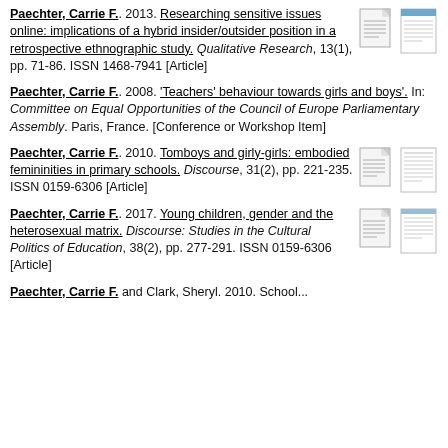Paechter, Carrie F.. 2013. Researching sensitive issues online: implications of a hybrid insider/outsider position in a retrospective ethnographic study. Qualitative Research, 13(1), pp. 71-86. ISSN 1468-7941 [Article]
Paechter, Carrie F.. 2008. 'Teachers' behaviour towards girls and boys'. In: Committee on Equal Opportunities of the Council of Europe Parliamentary Assembly. Paris, France. [Conference or Workshop Item]
Paechter, Carrie F.. 2010. Tomboys and girly-girls: embodied femininities in primary schools. Discourse, 31(2), pp. 221-235. ISSN 0159-6306 [Article]
Paechter, Carrie F.. 2017. Young children, gender and the heterosexual matrix. Discourse: Studies in the Cultural Politics of Education, 38(2), pp. 277-291. ISSN 0159-6306 [Article]
Paechter, Carrie F. and Clark, Sheryl. 2010. School...